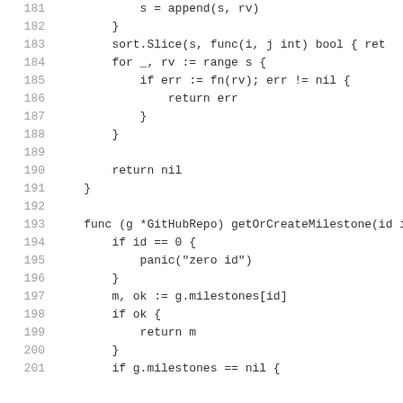Code listing lines 181-201 (Go source code)
181    s = append(s, rv)
182    }
183    sort.Slice(s, func(i, j int) bool { ret
184    for _, rv := range s {
185        if err := fn(rv); err != nil {
186            return err
187        }
188    }
189
190    return nil
191    }
192
193    func (g *GitHubRepo) getOrCreateMilestone(id in
194        if id == 0 {
195            panic("zero id")
196        }
197        m, ok := g.milestones[id]
198        if ok {
199            return m
200        }
201        if g.milestones == nil {